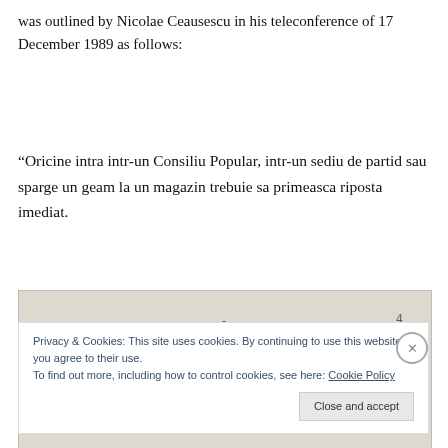was outlined by Nicolae Ceausescu in his teleconference of 17 December 1989 as follows:
“Oricine intra intr-un Consiliu Popular, intr-un sediu de partid sau sparge un geam la un magazin trebuie sa primeasca riposta imediat.
[Figure (photo): Scanned document page showing typewritten Romanian text, page number 2 centered at top, number 4 at top right, with partial text visible at bottom reading 'Oricine intra intr-un']
Privacy & Cookies: This site uses cookies. By continuing to use this website, you agree to their use.
To find out more, including how to control cookies, see here: Cookie Policy